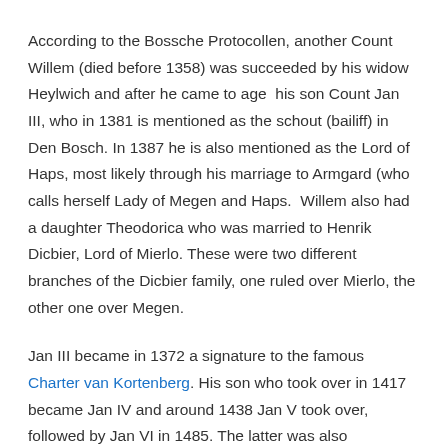According to the Bossche Protocollen, another Count Willem (died before 1358) was succeeded by his widow Heylwich and after he came to age  his son Count Jan III, who in 1381 is mentioned as the schout (bailiff) in Den Bosch. In 1387 he is also mentioned as the Lord of Haps, most likely through his marriage to Armgard (who calls herself Lady of Megen and Haps.  Willem also had a daughter Theodorica who was married to Henrik Dicbier, Lord of Mierlo. These were two different branches of the Dicbier family, one ruled over Mierlo, the other one over Megen.
Jan III became in 1372 a signature to the famous Charter van Kortenberg. His son who took over in 1417 became Jan IV and around 1438 Jan V took over, followed by Jan VI in 1485. The latter was also mentioned as the Lord of Mierlo
He, held on to Mierlo but sold the County of Megen in 1469 to Guy (Guido)  de Brimeu, he was also Lord of Humbercourt, with rich